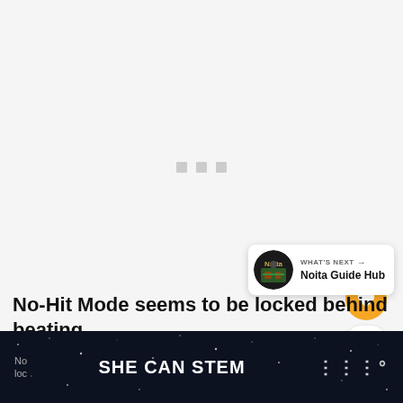[Figure (screenshot): Loading placeholder area with three small gray square dots centered, indicating content is loading]
[Figure (infographic): Orange circular like/favorite button with heart icon, count of 1 below it, and a white circular share button]
[Figure (infographic): What's Next card showing Noita Guide Hub with circular game thumbnail]
No-Hit Mode seems to be locked behind beating
[Figure (screenshot): Dark banner advertisement showing 'SHE CAN STEM' text in white bold letters on a dark starfield background with Milestone logo on right]